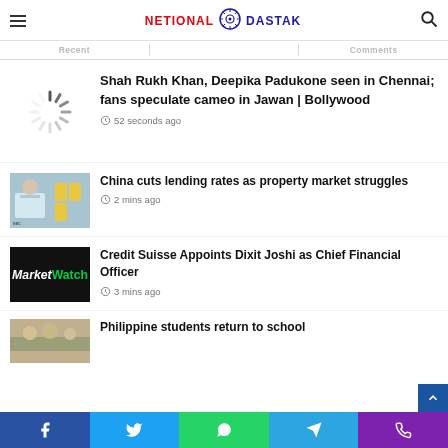NETIONAL DASTAK
Recent | Comments
Shah Rukh Khan, Deepika Padukone seen in Chennai; fans speculate cameo in Jawan | Bollywood
52 seconds ago
China cuts lending rates as property market struggles
2 mins ago
Credit Suisse Appoints Dixit Joshi as Chief Financial Officer
3 mins ago
Philippine students return to school